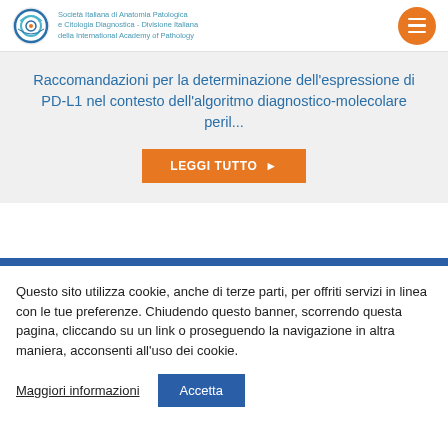Società Italiana di Anatomia Patologica e Citologia Diagnostica - Divisione Italiana della International Academy of Pathology
Raccomandazioni per la determinazione dell'espressione di PD-L1 nel contesto dell'algoritmo diagnostico-molecolare peril...
LEGGI TUTTO ▶
Questo sito utilizza cookie, anche di terze parti, per offriti servizi in linea con le tue preferenze. Chiudendo questo banner, scorrendo questa pagina, cliccando su un link o proseguendo la navigazione in altra maniera, acconsenti all'uso dei cookie.
Maggiori informazioni  Accetta